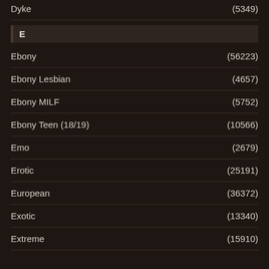Dyke (5349)
E
Ebony (56223)
Ebony Lesbian (4657)
Ebony MILF (5752)
Ebony Teen (18/19) (10566)
Emo (2679)
Erotic (25191)
European (36372)
Exotic (13340)
Extreme (15910)